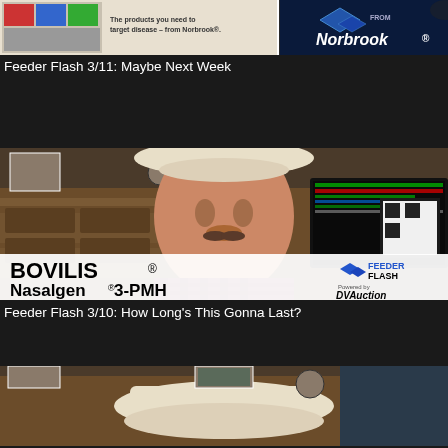[Figure (screenshot): Norbrook veterinary product advertisement thumbnail showing product banner with text 'The products you need to target disease - from Norbrook®' on left side, and Norbrook logo with diamond shape on right side against dark background]
Feeder Flash 3/11: Maybe Next Week
[Figure (screenshot): Video thumbnail showing a man wearing a white cowboy hat and plaid shirt sitting in front of a wooden dresser with family photos, with Bovilis® Nasalgen® 3-PMH logo on left and Feeder Flash Powered by DVAuction logo on right]
Feeder Flash 3/10: How Long's This Gonna Last?
[Figure (screenshot): Partial video thumbnail showing bottom portion of a similar scene with a white cowboy hat visible on a wooden surface, family photos in background]